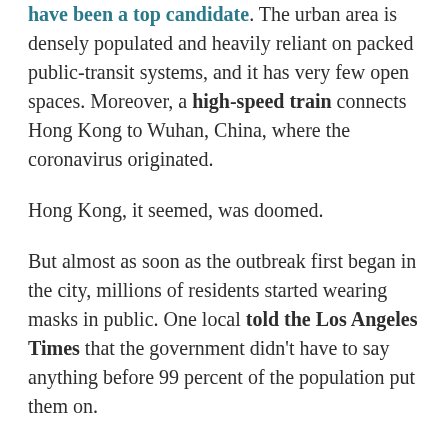have been a top candidate. The urban area is densely populated and heavily reliant on packed public-transit systems, and it has very few open spaces. Moreover, a high-speed train connects Hong Kong to Wuhan, China, where the coronavirus originated.
Hong Kong, it seemed, was doomed.
But almost as soon as the outbreak first began in the city, millions of residents started wearing masks in public. One local told the Los Angeles Times that the government didn't have to say anything before 99 percent of the population put them on.
Experts now say widespread mask usage appears to be a major reason, perhaps even the primary one, why the city hasn't been devastated by the disease.